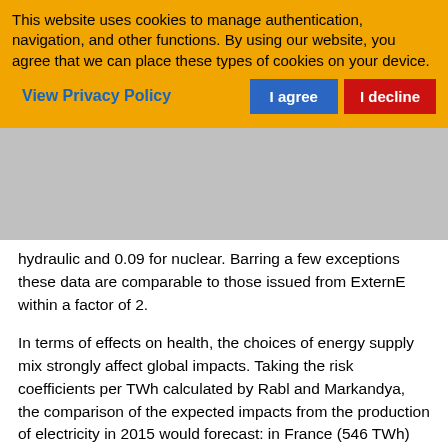This website uses cookies to manage authentication, navigation, and other functions. By using our website, you agree that we can place these types of cookies on your device.
View Privacy Policy
I agree
I decline
hydraulic and 0.09 for nuclear. Barring a few exceptions these data are comparable to those issued from ExternE within a factor of 2.
In terms of effects on health, the choices of energy supply mix strongly affect global impacts. Taking the risk coefficients per TWh calculated by Rabl and Markandya, the comparison of the expected impacts from the production of electricity in 2015 would forecast: in France (546 TWh) 7,300 years of life lost and 460 premature deaths and in Germany (647 TWh) 41,300 years of life lost and 8,400 premature deaths.